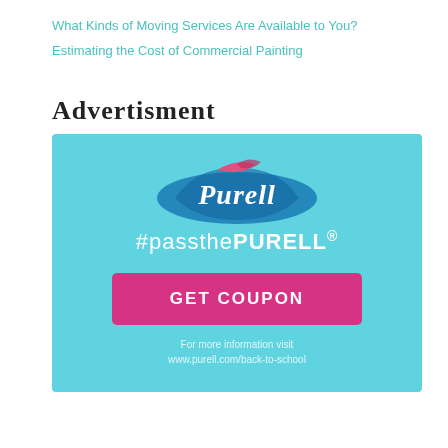What Kinds of Moving Services Are Available to You?
Estimating the Cost of Commercial Painting
ADVERTISMENT
[Figure (advertisement): Purell hand sanitizer advertisement with light blue background. Shows the Purell cursive logo with a decorative swoosh, the hashtag '#passthePURELL®', a pink 'GET COUPON' button, and footer text 'For more information visit www.purell.com/back-to-school']